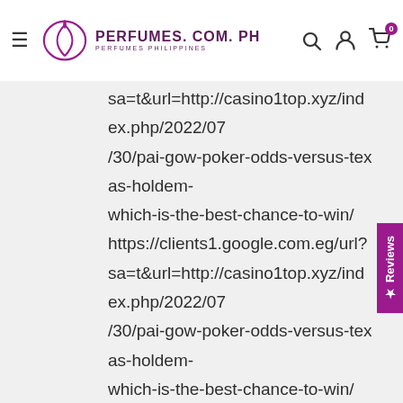PERFUMES.COM.PH
sa=t&url=http://casino1top.xyz/index.php/2022/07/30/pai-gow-poker-odds-versus-texas-holdem-which-is-the-best-chance-to-win/ https://clients1.google.com.eg/url?sa=t&url=http://casino1top.xyz/index.php/2022/07/30/pai-gow-poker-odds-versus-texas-holdem-which-is-the-best-chance-to-win/ https://clients1.google.com.ec/url?sa=t&url=http://casino1top.xyz/index.php/2022/07/30/pai-gow-poker-odds-versus-texas-holdem-which-is-the-best-chance-to-win/ https://clients1.google.com.do/url?sa=t&url=http://casino1top.xyz/index.php/2022/07/30/pai-gow-poker-odds-versus-texas-holdem-